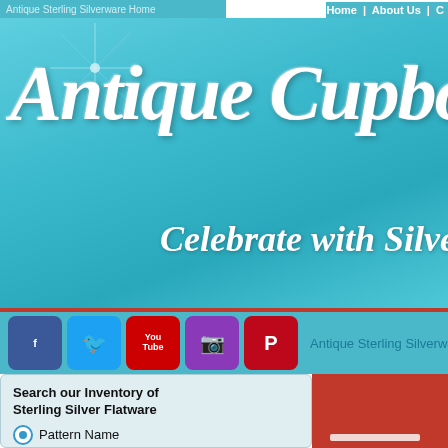Antique Sterling Silverware Home
Home | About Us | C
[Figure (screenshot): Antique Cupboard website banner with cursive silver text 'Antique Cupbo...' and tagline 'Celebrate with Silver' on teal gradient background]
[Figure (logo): Social media icons: Facebook, Twitter, YouTube, Instagram, Pinterest]
Antique Sterling Silverware and Fla
Search our Inventory of Sterling Silver Flatware
Pattern Name
Manufacturer
Piece Type
Search for:
Hint: type in just a few letters for best results.
Global Site Search:
Home
Please no
Click the (
1 R
Scroll down to find your piece(s)
Inventory for Pattern: Burum